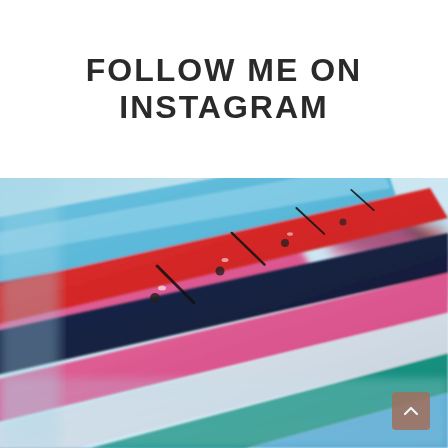FOLLOW ME ON INSTAGRAM
[Figure (photo): Close-up photo of colorful car rooftops lined up diagonally, showing blue, red, pink, white, and dark colored cars with wiper blades visible, taken at a shallow depth of field]